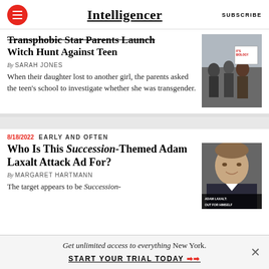Intelligencer | SUBSCRIBE
Transphobic Star Parents Launch Witch Hunt Against Teen
By SARAH JONES
When their daughter lost to another girl, the parents asked the teen's school to investigate whether she was transgender.
[Figure (photo): Photo of protesters with signs including one that reads IT'S BIOLOGY]
8/18/2022  EARLY AND OFTEN
Who Is This Succession-Themed Adam Laxalt Attack Ad For?
By MARGARET HARTMANN
The target appears to be Succession-
[Figure (photo): Photo of Adam Laxalt with text overlay: ADAM LAXALT: OUT FOR HIMSELF]
Get unlimited access to everything New York. START YOUR TRIAL TODAY ➤➤